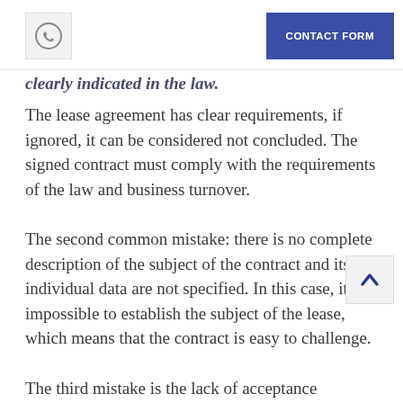CONTACT FORM
clearly indicated in the law.
The lease agreement has clear requirements, if ignored, it can be considered not concluded. The signed contract must comply with the requirements of the law and business turnover.
The second common mistake: there is no complete description of the subject of the contract and its individual data are not specified. In this case, it is impossible to establish the subject of the lease, which means that the contract is easy to challenge.
The third mistake is the lack of acceptance